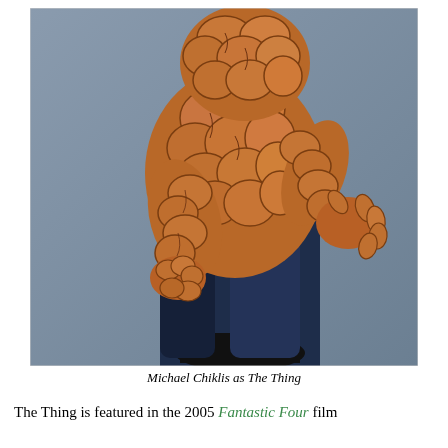[Figure (photo): Michael Chiklis in costume as The Thing from the 2005 Fantastic Four film, showing a large figure covered in rocky orange-brown stone-like skin, wearing dark blue pants and black boots, posed in an action stance against a grey background.]
Michael Chiklis as The Thing
The Thing is featured in the 2005 Fantastic Four film